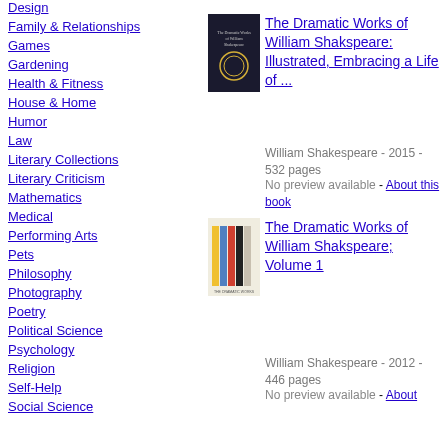Design
Family & Relationships
Games
Gardening
Health & Fitness
House & Home
Humor
Law
Literary Collections
Literary Criticism
Mathematics
Medical
Performing Arts
Pets
Philosophy
Photography
Poetry
Political Science
Psychology
Religion
Self-Help
Social Science
[Figure (photo): Book cover of The Dramatic Works of William Shakspeare: Illustrated, Embracing a Life of ... - dark cover with laurel wreath]
The Dramatic Works of William Shakspeare: Illustrated, Embracing a Life of ...
William Shakespeare - 2015 - 532 pages
No preview available - About this book
[Figure (photo): Book cover of The Dramatic Works of William Shakspeare; Volume 1 - colorful spine showing books in yellow, blue, red, black]
The Dramatic Works of William Shakspeare; Volume 1
William Shakespeare - 2012 - 446 pages
No preview available - About